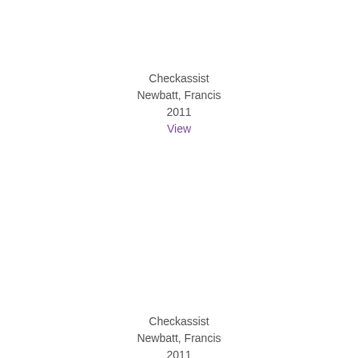Checkassist
Newbatt, Francis
2011
View
Checkassist
Newbatt, Francis
2011
View